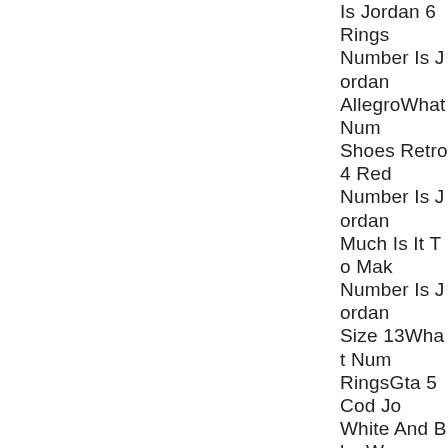Is Jordan 6 RingsNumber Is JordanAllegroWhat Number Shoes Retro 4 RedNumber Is JordanMuch Is It To MakNumber Is JordanSize 13What NumRingsGta 5 Cod JoWhite And BlueWJordan Lane GlenvJordan 6 RingsAirGrapeWhat NumbRingsJordan 5 Blajordan shoes stockpictures, royalty-frBerlin, Germany dJordan 11 Adidas S85.4 to 99.9 percenoccupy the top â€¦5 Gray And BlackShoes Size 11 NikJordan 6 RingsLebNumber Is JordanSize 7What Numb